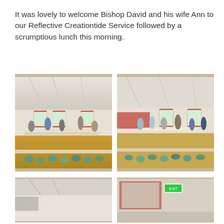It was lovely to welcome Bishop David and his wife Ann to our Reflective Creationtide Service followed by a scrumptious lunch this morning.
[Figure (photo): Interior of a community hall with people gathered around tables, wood floor, high ceiling with beams, teal/green cups and saucers on a table in the foreground, red-trimmed windows in background.]
[Figure (photo): Same community hall from a slightly different angle, people standing around a buffet table, teal cups and saucers visible in foreground, red wall panel and windows in background.]
[Figure (photo): Partial view of hall interior, ceiling and wall visible, cropped at bottom of page.]
[Figure (photo): Partial view of hall interior showing red wall elements and exit sign, cropped at bottom of page.]